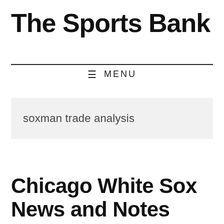The Sports Bank
≡ MENU
soxman trade analysis
Chicago White Sox News and Notes